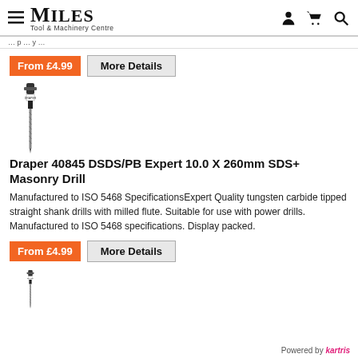Miles Tool & Machinery Centre
From £4.99  More Details
[Figure (photo): SDS+ masonry drill bit standing upright, product image]
Draper 40845 DSDS/PB Expert 10.0 X 260mm SDS+ Masonry Drill
Manufactured to ISO 5468 SpecificationsExpert Quality tungsten carbide tipped straight shank drills with milled flute. Suitable for use with power drills. Manufactured to ISO 5468 specifications. Display packed.
From £4.99  More Details
[Figure (photo): SDS+ masonry drill bit standing upright, second product image]
Powered by kartris